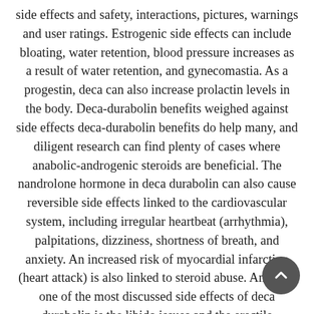side effects and safety, interactions, pictures, warnings and user ratings. Estrogenic side effects can include bloating, water retention, blood pressure increases as a result of water retention, and gynecomastia. As a progestin, deca can also increase prolactin levels in the body. Deca-durabolin benefits weighed against side effects deca-durabolin benefits do help many, and diligent research can find plenty of cases where anabolic-androgenic steroids are beneficial. The nandrolone hormone in deca durabolin can also cause reversible side effects linked to the cardiovascular system, including irregular heartbeat (arrhythmia), palpitations, dizziness, shortness of breath, and anxiety. An increased risk of myocardial infarction (heart attack) is also linked to steroid abuse. Anyway, one of the most discussed side effects of deca durabolin is the libido issues and the erectile dysfunction caused by it. The compound is so notorious for offering these types of issues that the side effect was named “ deca dick”. One of the most horrifying side effects of deca durabolin is the steroid’s ability to interfere with the natural testosterone production recovery after being on a bulking cycle. Other side effects of consuming deca durabolin include erectile